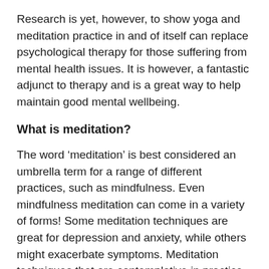Research is yet, however, to show yoga and meditation practice in and of itself can replace psychological therapy for those suffering from mental health issues. It is however, a fantastic adjunct to therapy and is a great way to help maintain good mental wellbeing.
What is meditation?
The word ‘meditation’ is best considered an umbrella term for a range of different practices, such as mindfulness. Even mindfulness meditation can come in a variety of forms! Some meditation techniques are great for depression and anxiety, while others might exacerbate symptoms. Meditation techniques that are contemplative in practice and focus more on turning inward and withdrawing from the senses can be confronting and anxiety-provoking for those who may have a